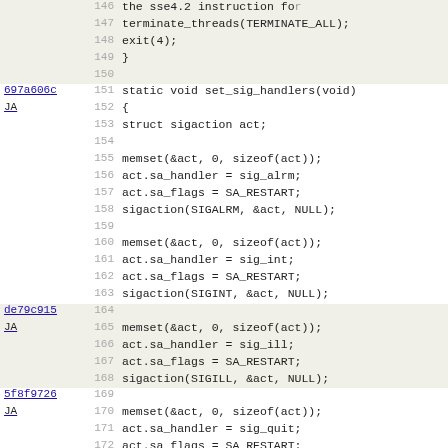[Figure (screenshot): Source code diff/annotation view showing C code for set_sig_handlers function with line numbers 146-178, commit hashes and JA labels in left margin]